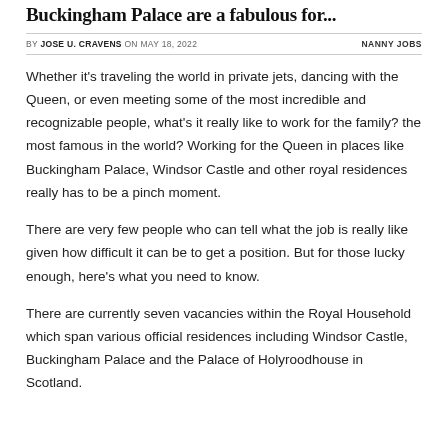Buckingham Palace are a fabulous for...
BY JOSE U. CRAVENS ON MAY 18, 2022
NANNY JOBS
Whether it's traveling the world in private jets, dancing with the Queen, or even meeting some of the most incredible and recognizable people, what's it really like to work for the family? the most famous in the world? Working for the Queen in places like Buckingham Palace, Windsor Castle and other royal residences really has to be a pinch moment.
There are very few people who can tell what the job is really like given how difficult it can be to get a position. But for those lucky enough, here's what you need to know.
There are currently seven vacancies within the Royal Household which span various official residences including Windsor Castle, Buckingham Palace and the Palace of Holyroodhouse in Scotland.